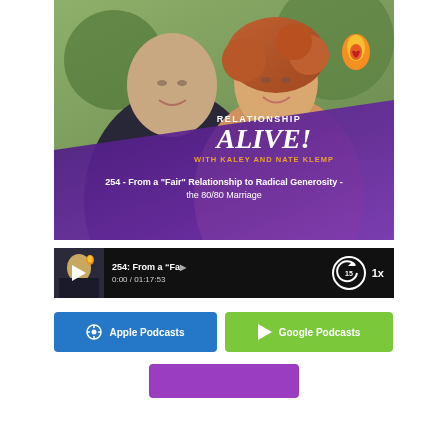[Figure (photo): Podcast cover art for 'Relationship Alive! with Kaley and Nate Klemp'. Shows a man and woman smiling, with a purple gradient overlay, flame logo icon, and episode info: '254 - From a "Fair" Relationship to Radical Generosity - the 80/80 Marriage'.]
[Figure (screenshot): Audio player bar showing episode '254: From a "Fa...' with time 0:00 / 01:17:53, rewind 15 button, and 1x speed control.]
Apple Podcasts
Google Podcasts